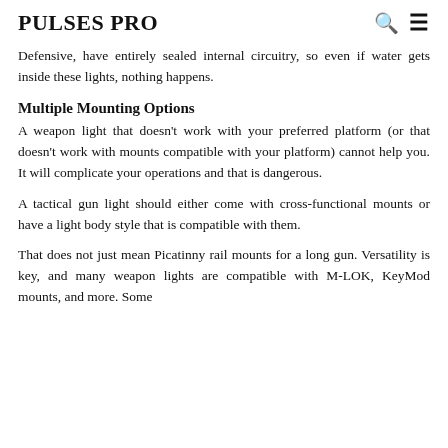PULSES PRO
Defensive, have entirely sealed internal circuitry, so even if water gets inside these lights, nothing happens.
Multiple Mounting Options
A weapon light that doesn't work with your preferred platform (or that doesn't work with mounts compatible with your platform) cannot help you. It will complicate your operations and that is dangerous.
A tactical gun light should either come with cross-functional mounts or have a light body style that is compatible with them.
That does not just mean Picatinny rail mounts for a long gun. Versatility is key, and many weapon lights are compatible with M-LOK, KeyMod mounts, and more. Some